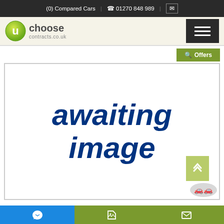(0) Compared Cars | 01270 848 989
[Figure (logo): uchoose contracts.co.uk logo with green circle U icon]
[Figure (illustration): Main image placeholder showing 'awaiting image' text in dark blue italic bold font on white background]
Bottom navigation bar with messenger, tag, and mail icons